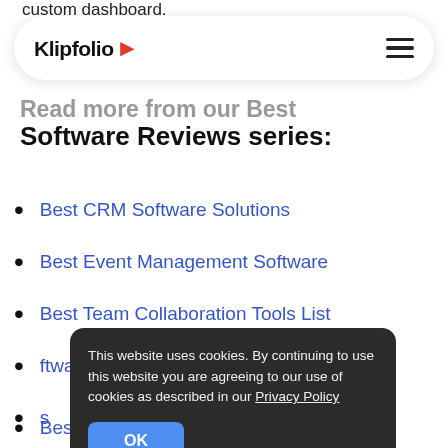custom dashboard.
[Figure (screenshot): Klipfolio website navigation bar with logo and hamburger menu icon on white rounded pill background]
Read more from our Best Software Reviews series:
Best CRM Software Solutions
Best Event Management Software
Best Team Collaboration Tools List
...ftware List
...s
[Figure (screenshot): Cookie consent banner overlay with dark background, message about cookie use, Privacy Policy link, and OK button]
Best Web Analytics Tools List